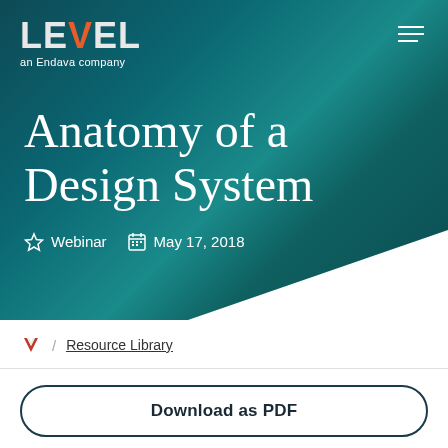[Figure (logo): LEVEL an Endava company logo in white and orange on teal background]
Anatomy of a Design System
Webinar   May 17, 2018
/ Resource Library
Download as PDF